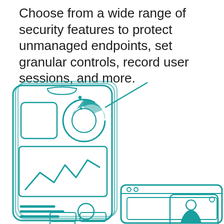Choose from a wide range of security features to protect unmanaged endpoints, set granular controls, record user sessions, and more.
[Figure (illustration): Line art illustration in teal/cyan color showing a smartphone with a donut chart and line graph on screen, alongside a desktop browser window and a tablet/laptop, all drawn in a sketchy outline style.]